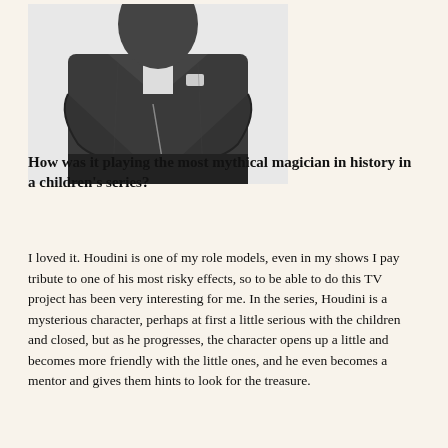[Figure (photo): A person in a dark suit with arms crossed, photographed from the torso up against a white background.]
How was it playing the most mythical magician in history in a children's series?
I loved it. Houdini is one of my role models, even in my shows I pay tribute to one of his most risky effects, so to be able to do this TV project has been very interesting for me. In the series, Houdini is a mysterious character, perhaps at first a little serious with the children and closed, but as he progresses, the character opens up a little and becomes more friendly with the little ones, and he even becomes a mentor and gives them hints to look for the treasure.